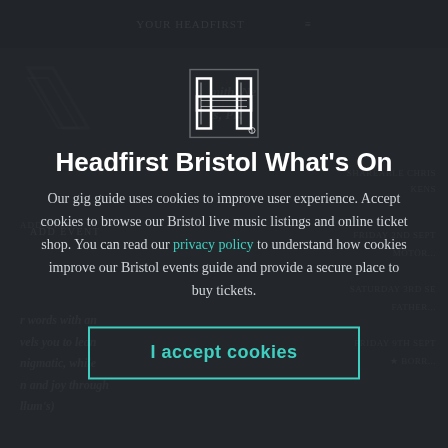[Figure (screenshot): Background website page showing Headfirst Bristol events listing website with dark theme, navigation bar, logo, event listings partially visible behind modal overlay]
[Figure (logo): Headfirst Bristol geometric 'H' logo in white outline style, centered above modal title]
Headfirst Bristol What's On
Our gig guide uses cookies to improve user experience. Accept cookies to browse our Bristol live music listings and online ticket shop. You can read our privacy policy to understand how cookies improve our Bristol events guide and provide a secure place to buy tickets.
I accept cookies